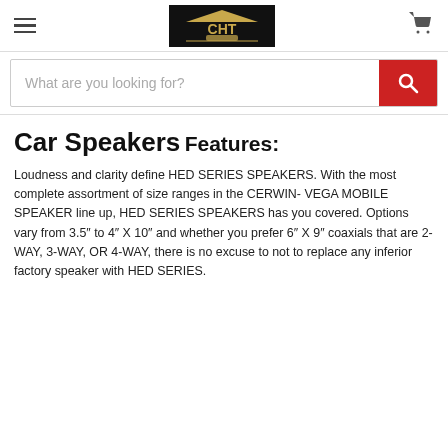CHT Car Audio — navigation header with hamburger menu, logo, and cart icon
What are you looking for?
Car Speakers
Features:
Loudness and clarity define HED SERIES SPEAKERS. With the most complete assortment of size ranges in the CERWIN- VEGA MOBILE SPEAKER line up, HED SERIES SPEAKERS has you covered. Options vary from 3.5" to 4" X 10" and whether you prefer 6" X 9" coaxials that are 2-WAY, 3-WAY, OR 4-WAY, there is no excuse to not to replace any inferior factory speaker with HED SERIES.